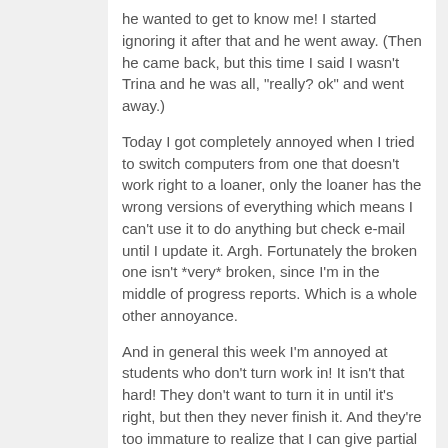he wanted to get to know me! I started ignoring it after that and he went away. (Then he came back, but this time I said I wasn't Trina and he was all, "really? ok" and went away.)
Today I got completely annoyed when I tried to switch computers from one that doesn't work right to a loaner, only the loaner has the wrong versions of everything which means I can't use it to do anything but check e-mail until I update it. Argh. Fortunately the broken one isn't *very* broken, since I'm in the middle of progress reports. Which is a whole other annoyance.
And in general this week I'm annoyed at students who don't turn work in! It isn't that hard! They don't want to turn it in until it's right, but then they never finish it. And they're too immature to realize that I can give partial credit for something that's wrong but they get a huge fat zero for something they don't turn in at all!
Log in to post comments